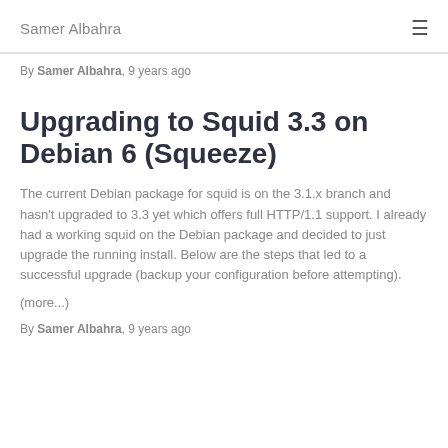Samer Albahra
By Samer Albahra, 9 years ago
Upgrading to Squid 3.3 on Debian 6 (Squeeze)
The current Debian package for squid is on the 3.1.x branch and hasn't upgraded to 3.3 yet which offers full HTTP/1.1 support. I already had a working squid on the Debian package and decided to just upgrade the running install. Below are the steps that led to a successful upgrade (backup your configuration before attempting).
(more...)
By Samer Albahra, 9 years ago